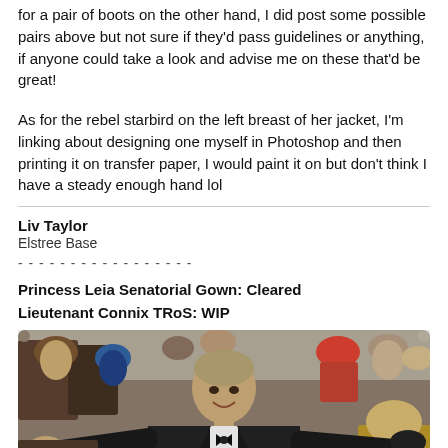for a pair of boots on the other hand, I did post some possible pairs above but not sure if they'd pass guidelines or anything, if anyone could take a look and advise me on these that'd be great!
As for the rebel starbird on the left breast of her jacket, I'm linking about designing one myself in Photoshop and then printing it on transfer paper, I would paint it on but don't think I have a steady enough hand lol
Liv Taylor
Elstree Base
- - - - - - - - - - - - - - - - -
Princess Leia Senatorial Gown: Cleared
Lieutenant Connix TRoS: WIP
[Figure (photo): Photo of a man in a black tuxedo with bow tie, arms outstretched, smiling, surrounded by a crowd of people at what appears to be a public event or premiere.]